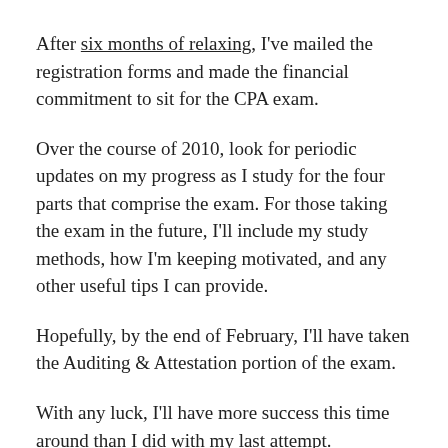After six months of relaxing, I've mailed the registration forms and made the financial commitment to sit for the CPA exam.
Over the course of 2010, look for periodic updates on my progress as I study for the four parts that comprise the exam. For those taking the exam in the future, I'll include my study methods, how I'm keeping motivated, and any other useful tips I can provide.
Hopefully, by the end of February, I'll have taken the Auditing & Attestation portion of the exam.
With any luck, I'll have more success this time around than I did with my last attempt.